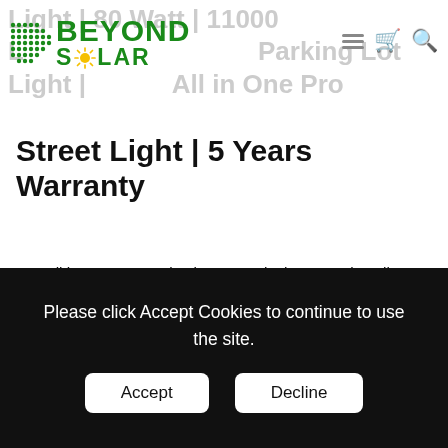Light | 80 Watt | 11000 Lumen | Solar Parking Lot Light | Solar All in One Pro Street Light | 5 Years Warranty
[Figure (logo): Beyond Solar company logo with green bold text and sun icon]
Street Light | 5 Years Warranty
Our All in One Pro Series is economical, easy to install, completely off grid, unique new design with all the solar lighting advantages is great solution for area such as...
SKU : 990104
Please click Accept Cookies to continue to use the site.